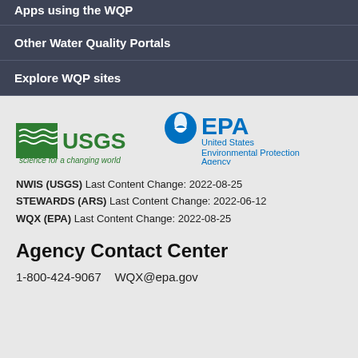Apps using the WQP
Other Water Quality Portals
Explore WQP sites
[Figure (logo): USGS logo with text 'science for a changing world']
[Figure (logo): EPA logo with text 'United States Environmental Protection Agency']
NWIS (USGS) Last Content Change: 2022-08-25
STEWARDS (ARS) Last Content Change: 2022-06-12
WQX (EPA) Last Content Change: 2022-08-25
Agency Contact Center
1-800-424-9067    WQX@epa.gov